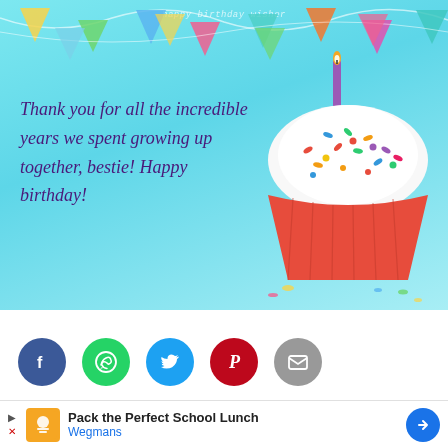[Figure (photo): Birthday card image with light blue background, colorful bunting flags at top, cupcake with sprinkles and lit candle on right side, watermark text 'happy birthday wisher' at top]
Thank you for all the incredible years we spent growing up together, bestie! Happy birthday!
[Figure (infographic): Social share buttons row: Facebook (blue), WhatsApp (green), Twitter (blue), Pinterest (red), Email (gray)]
×
Pack the Perfect School Lunch Wegmans